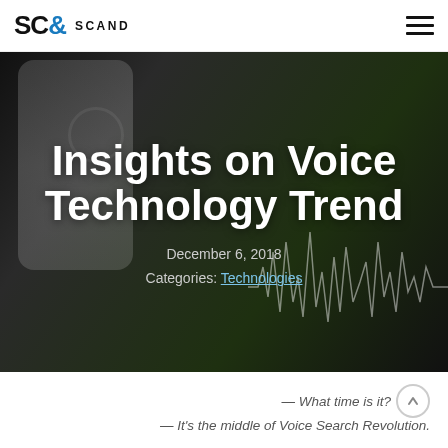SC& SCAND
[Figure (photo): Hero banner photo showing a hand holding a smartphone with a microphone icon and voice search waveform overlay on a dark background, with the blog post title 'Insights on Voice Technology Trend' overlaid in white bold text, date December 6, 2018, and category link 'Technologies']
Insights on Voice Technology Trend
December 6, 2018
Categories: Technologies
— What time is it?  — It's the middle of Voice Search Revolution.
There are many people who believe we are on the verge of a full